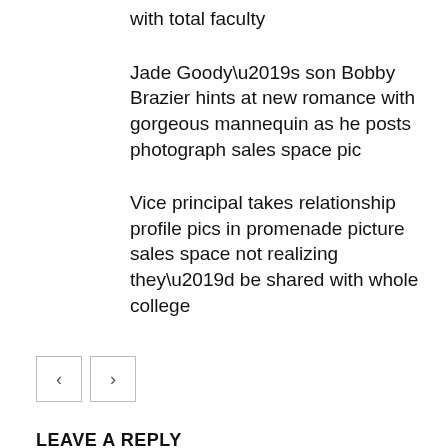with total faculty
Jade Goody’s son Bobby Brazier hints at new romance with gorgeous mannequin as he posts photograph sales space pic
Vice principal takes relationship profile pics in promenade picture sales space not realizing they’d be shared with whole college
< >
LEAVE A REPLY
Comment: